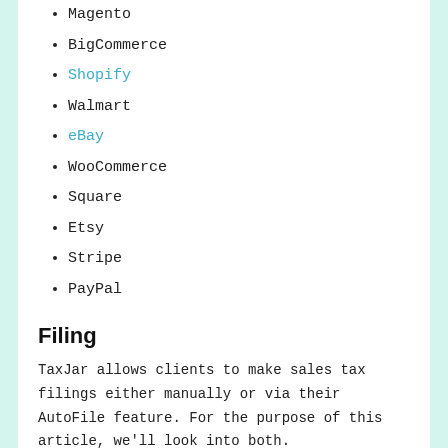Magento
BigCommerce
Shopify
Walmart
eBay
WooCommerce
Square
Etsy
Stripe
PayPal
Filing
TaxJar allows clients to make sales tax filings either manually or via their AutoFile feature. For the purpose of this article, we'll look into both.